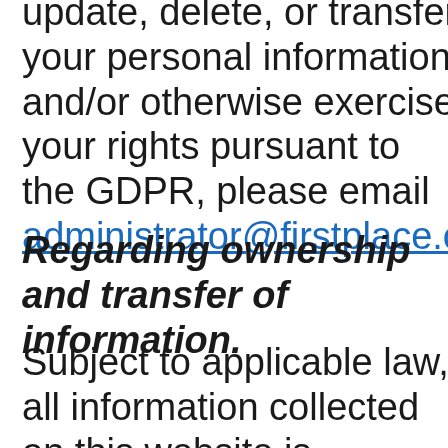update, delete, or transfer your personal information and/or otherwise exercise your rights pursuant to the GDPR, please email administrator@firstplace.co
Regarding ownership and transfer of information.
Subject to applicable law, all information collected on this website is considered to be an asset of First Place and as such may be shared and/or